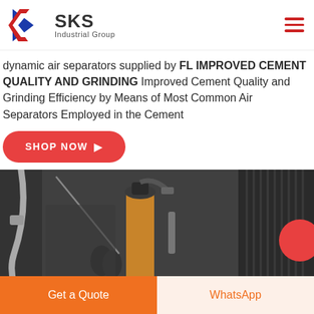[Figure (logo): SKS Industrial Group logo with red and blue K chevron icon and bold SKS text with 'Industrial Group' tagline]
dynamic air separators supplied by FL IMPROVED CEMENT QUALITY AND GRINDING Improved Cement Quality and Grinding Efficiency by Means of Most Common Air Separators Employed in the Cement
SHOP NOW →
[Figure (photo): Industrial machinery photo showing pneumatic or hydraulic equipment components including hoses, valves, and metal parts in a workshop setting]
Get a Quote
WhatsApp